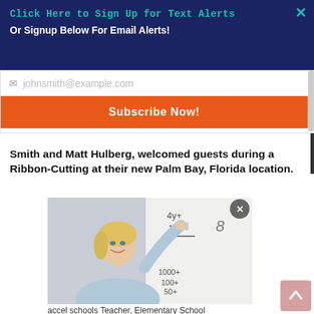×
Click Here to Sign Up for Text Alerts
Or Signup Below For Email Alerts!
johnsmith@example.com
Subscribe Now!
Smith and Matt Hulberg, welcomed guests during a Ribbon-Cutting at their new Palm Bay, Florida location.
[Figure (photo): A blonde female teacher smiling while writing math equations on a whiteboard. Numbers visible include 15=, 1000+, 100+, 50+. She is wearing a light blue shirt.]
accel schools Teacher, Elementary School